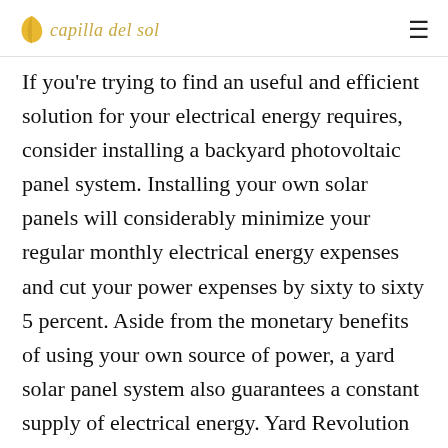capilla del sol
If you're trying to find an useful and efficient solution for your electrical energy requires, consider installing a backyard photovoltaic panel system. Installing your own solar panels will considerably minimize your regular monthly electrical energy expenses and cut your power expenses by sixty to sixty 5 percent. Aside from the monetary benefits of using your own source of power, a yard solar panel system also guarantees a constant supply of electrical energy. Yard Revolution Solar is an excellent DIY solution for property owner of